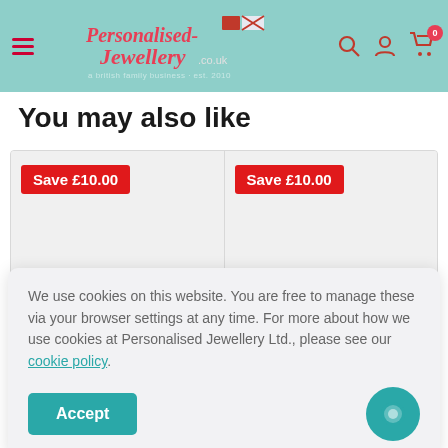[Figure (screenshot): Personalised Jewellery website header with logo, hamburger menu, search, account and cart icons on teal background]
You may also like
[Figure (other): Two product cards side by side both showing 'Save £10.00' badge on grey background]
We use cookies on this website. You are free to manage these via your browser settings at any time. For more about how we use cookies at Personalised Jewellery Ltd., please see our cookie policy.
Accept
£69.99  £79.99   £59.99  £69.99